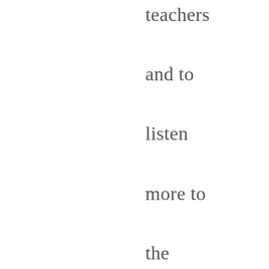teachers and to listen more to the subtle changes in people. Marty's legacy of joy in giving people